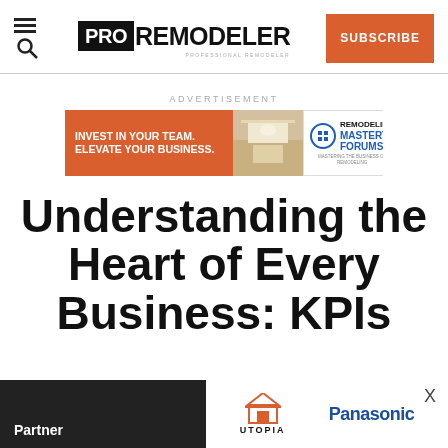PRO REMODELER
[Figure (screenshot): Subscribe button (orange) and navigation icon on Pro Remodeler website header]
ADVERTISEMENT
[Figure (infographic): Advertisement banner: INVEST IN YOUR TEAM. ELEVATE YOUR BUSINESS. Remodeling Mastery Forums]
Understanding the Heart of Every Business: KPIs
[Figure (logo): Bottom bar with Partner text, Utopia logo, and Panasonic logo]